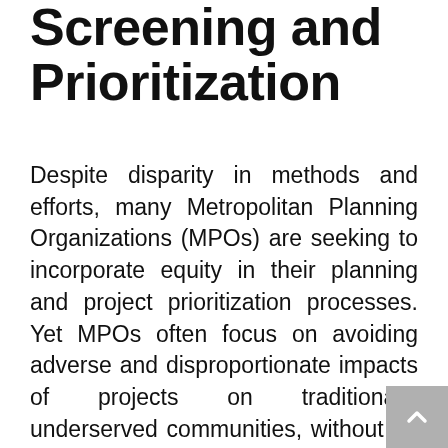Screening and Prioritization
Despite disparity in methods and efforts, many Metropolitan Planning Organizations (MPOs) are seeking to incorporate equity in their planning and project prioritization processes. Yet MPOs often focus on avoiding adverse and disproportionate impacts of projects on traditionally underserved communities, without an equal focus on developing projects that advance the needs of these communities. In addition, although the economic benefits of projects are a key priority to MPOs in the project prioritization process, few MPOs screen and rank projects based on whether they specifically improve